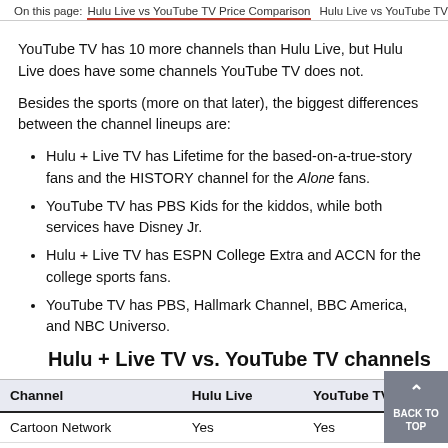On this page: Hulu Live vs YouTube TV Price Comparison   Hulu Live vs YouTube TV Ch
YouTube TV has 10 more channels than Hulu Live, but Hulu Live does have some channels YouTube TV does not.
Besides the sports (more on that later), the biggest differences between the channel lineups are:
Hulu + Live TV has Lifetime for the based-on-a-true-story fans and the HISTORY channel for the Alone fans.
YouTube TV has PBS Kids for the kiddos, while both services have Disney Jr.
Hulu + Live TV has ESPN College Extra and ACCN for the college sports fans.
YouTube TV has PBS, Hallmark Channel, BBC America, and NBC Universo.
Hulu + Live TV vs. YouTube TV channels
| Channel | Hulu Live | YouTube TV |
| --- | --- | --- |
| Cartoon Network | Yes | Yes |